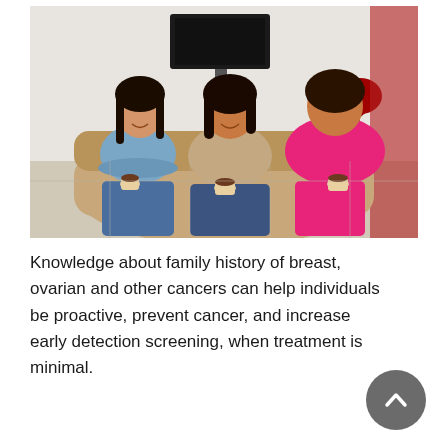[Figure (photo): Three women sitting together on a sofa, smiling and holding small cups of coffee or espresso. The woman on the left wears a blue off-shoulder ruffled top and jeans; the woman in the middle wears a beige/tan top and jeans; the woman on the right (seen from behind) wears a bright pink/hot-pink top. They appear to be in a home setting with a TV on the wall and flowers in the background.]
Knowledge about family history of breast, ovarian and other cancers can help individuals be proactive, prevent cancer, and increase early detection screening, when treatment is minimal.